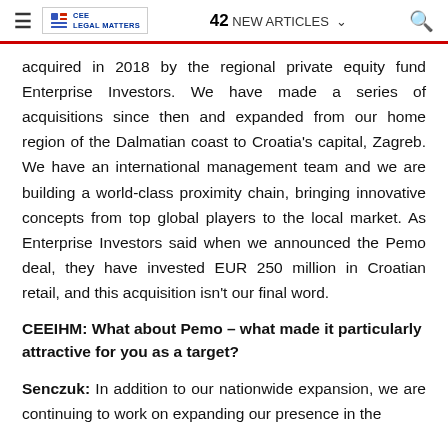≡  CEE LEGAL MATTERS   42 NEW ARTICLES ∨   🔍
acquired in 2018 by the regional private equity fund Enterprise Investors. We have made a series of acquisitions since then and expanded from our home region of the Dalmatian coast to Croatia's capital, Zagreb. We have an international management team and we are building a world-class proximity chain, bringing innovative concepts from top global players to the local market. As Enterprise Investors said when we announced the Pemo deal, they have invested EUR 250 million in Croatian retail, and this acquisition isn't our final word.
CEEIHM: What about Pemo – what made it particularly attractive for you as a target?
Senczuk: In addition to our nationwide expansion, we are continuing to work on expanding our presence in the